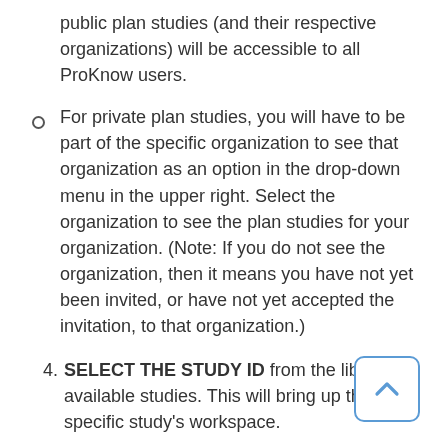public plan studies (and their respective organizations) will be accessible to all ProKnow users.
For private plan studies, you will have to be part of the specific organization to see that organization as an option in the drop-down menu in the upper right. Select the organization to see the plan studies for your organization. (Note: If you do not see the organization, then it means you have not yet been invited, or have not yet accepted the invitation, to that organization.)
4. SELECT THE STUDY ID from the library of available studies. This will bring up the specific study's workspace.
5. READ THE INSTRUCTIONS thoroughly.
6. DOWNLOAD the required data, which will be a zip file